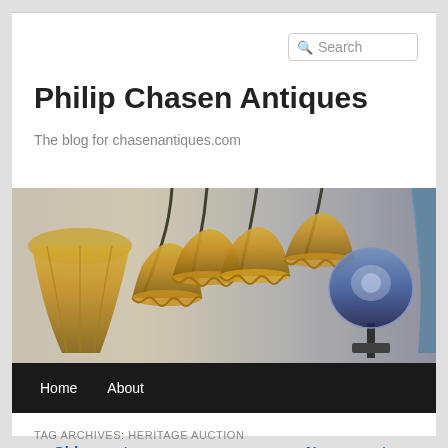Philip Chasen Antiques
The blog for chasenantiques.com
[Figure (photo): Banner photo showing decorative antique glass lamp shades and art glass items including golden trumpet-shaped lily pad lamp shades and a blue-purple mushroom lamp shade]
TAG ARCHIVES: HERITAGE AUCTION
← Older posts
Newer posts →